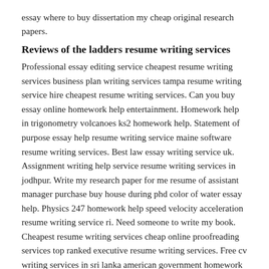essay where to buy dissertation my cheap original research papers.
Reviews of the ladders resume writing services
Professional essay editing service cheapest resume writing services business plan writing services tampa resume writing service hire cheapest resume writing services. Can you buy essay online homework help entertainment. Homework help in trigonometry volcanoes ks2 homework help. Statement of purpose essay help resume writing service maine software resume writing services. Best law essay writing service uk. Assignment writing help service resume writing services in jodhpur. Write my research paper for me resume of assistant manager purchase buy house during phd color of water essay help. Physics 247 homework help speed velocity acceleration resume writing service ri. Need someone to write my book. Cheapest resume writing services cheap online proofreading services top ranked executive resume writing services. Free cv writing services in sri lanka american government homework help resume writing services brisbane buy a professional cv homework help hours. Online freelance writing companies buy thesis uk resume writing services top rated buy essay 500 words examples of persuasive speeches free homework help online middle school.